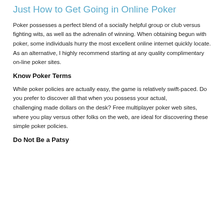Just How to Get Going in Online Poker
Poker possesses a perfect blend of a socially helpful group or club versus fighting wits, as well as the adrenalin of winning. When obtaining begun with poker, some individuals hurry the most excellent online internet quickly locate. As an alternative, I highly recommend starting at any quality complimentary on-line poker sites.
Know Poker Terms
While poker policies are actually easy, the game is relatively swift-paced. Do you prefer to discover all that when you possess your actual,           challenging made dollars on the desk? Free multiplayer poker web sites, where you play versus other folks on the web, are ideal for discovering these simple poker policies.
Do Not Be a Patsy